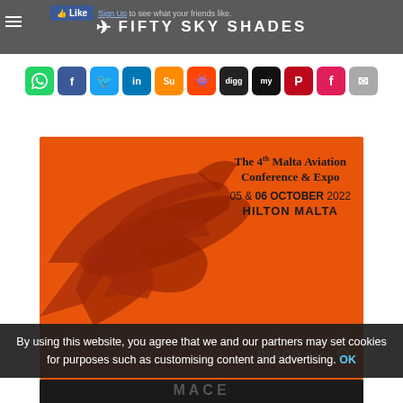FIFTY SKY SHADES
[Figure (screenshot): Row of social media sharing icons: WhatsApp, Facebook, Twitter, LinkedIn, StumbleUpon, Reddit, Digg, MySpace, Pinterest, Flipboard, Email]
[Figure (infographic): Orange background advertisement for The 4th Malta Aviation Conference & Expo, 05 & 06 October 2022, Hilton Malta. Features silhouette of airplane and mace.aero logo.]
By using this website, you agree that we and our partners may set cookies for purposes such as customising content and advertising. OK